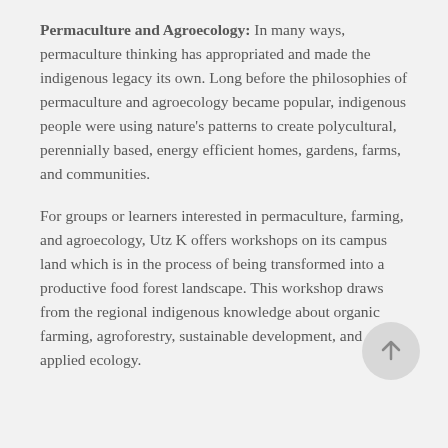Permaculture and Agroecology: In many ways, permaculture thinking has appropriated and made the indigenous legacy its own. Long before the philosophies of permaculture and agroecology became popular, indigenous people were using nature's patterns to create polycultural, perennially based, energy efficient homes, gardens, farms, and communities.
For groups or learners interested in permaculture, farming, and agroecology, Utz K offers workshops on its campus land which is in the process of being transformed into a productive food forest landscape. This workshop draws from the regional indigenous knowledge about organic farming, agroforestry, sustainable development, and applied ecology.